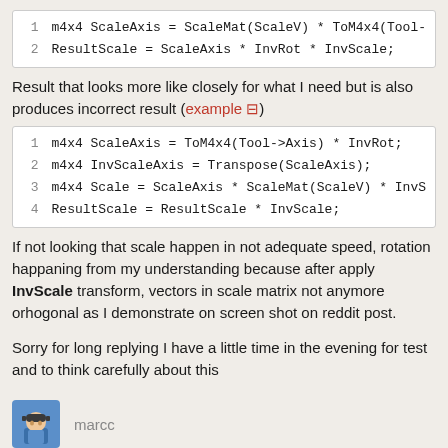Code block 1: m4x4 ScaleAxis = ScaleMat(ScaleV) * ToM4x4(Tool-  ResultScale = ScaleAxis * InvRot * InvScale;
Result that looks more like closely for what I need but is also produces incorrect result (example ⊟)
Code block 2: lines 1-4 of code
If not looking that scale happen in not adequate speed, rotation happaning from my understanding because after apply InvScale transform, vectors in scale matrix not anymore orhogonal as I demonstrate on screen shot on reddit post.
Sorry for long replying I have a little time in the evening for test and to think carefully about this
marcc